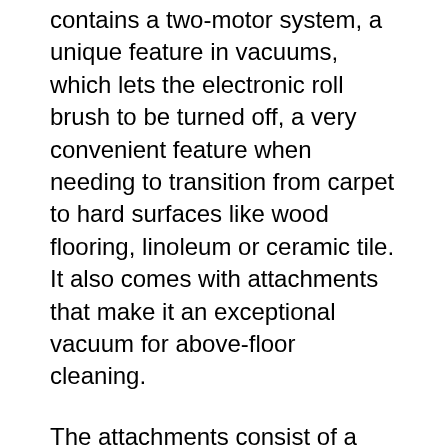contains a two-motor system, a unique feature in vacuums, which lets the electronic roll brush to be turned off, a very convenient feature when needing to transition from carpet to hard surfaces like wood flooring, linoleum or ceramic tile. It also comes with attachments that make it an exceptional vacuum for above-floor cleaning.
The attachments consist of a hose that comes with a quick release wand which provides twelve feet of reach; a dusting brush for electronics, bookshelves and window blinds; a crevice tool for furniture; a twenty four inch crevice tool for deeper spots; and a small turbo brush made especially for removing pet hair from upholstered surfaces and stairs.
Other features include smooth-gliding wheels, an ergonomic handle, and lightweight construction weighing in at just fifteen pounds, a thirty foot power cord and a removable bagless container, which means no bags to continuously purchase. An additional